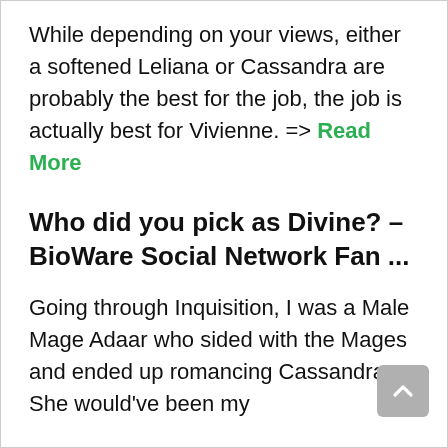While depending on your views, either a softened Leliana or Cassandra are probably the best for the job, the job is actually best for Vivienne. => Read More
Who did you pick as Divine? – BioWare Social Network Fan ...
Going through Inquisition, I was a Male Mage Adaar who sided with the Mages and ended up romancing Cassandra. She would've been my